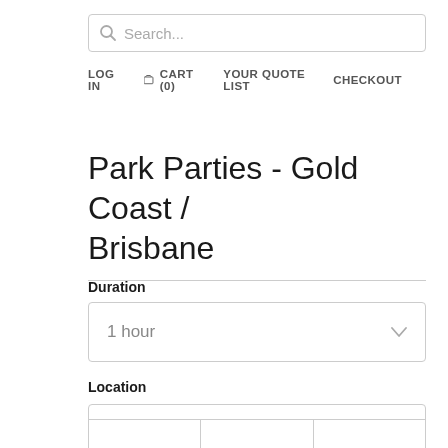[Figure (screenshot): Search bar with magnifying glass icon and placeholder text 'Search...']
LOG IN  CART (0)  YOUR QUOTE LIST  CHECKOUT
Park Parties - Gold Coast / Brisbane
Duration
[Figure (screenshot): Dropdown selector showing '1 hour' with chevron arrow]
Location
[Figure (screenshot): Dropdown selector showing 'Gold Coast' with chevron arrow]
[Figure (screenshot): Partial table visible at bottom of page]